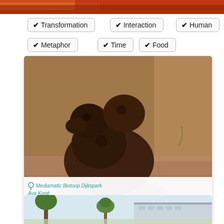[Figure (photo): Top portion of a colorful image, partially cropped, with warm orange/amber tones at the very top of the page.]
✔ Transformation
✔ Interaction
✔ Human
✔ Metaphor
✔ Time
✔ Food
[Figure (photo): Close-up photograph of a dark brown mycelium sculpture resembling a small animal or figure, placed on stone pavement. The sculpture has a rough, earthy texture and organic shape.]
Mediamatic Biotoop Dijkspark
Aya Koné
Sculpting with Mycelium
Making a Fertile Figure from Mycelium and Myco-Clay
[Figure (photo): Partial view of a building exterior with trees in the foreground, partially visible at the bottom of the page.]